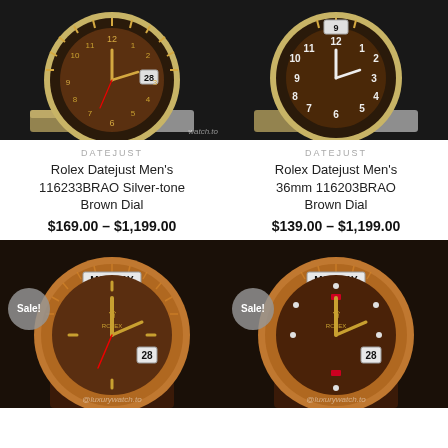[Figure (photo): Rolex Datejust watch with gold fluted bezel, brown dial, two-tone bracelet, watermark 'watch.to']
[Figure (photo): Rolex Datejust watch with gold fluted bezel, brown dial with Arabic numerals, two-tone bracelet]
DATEJUST
Rolex Datejust Men's 116233BRAO Silver-tone Brown Dial
$169.00 – $1,199.00
DATEJUST
Rolex Datejust Men's 36mm 116203BRAO Brown Dial
$139.00 – $1,199.00
[Figure (photo): Rolex Day-Date rose gold watch with brown dial, fluted bezel, brown leather strap, Sale badge, watermark 'luxurywatch.to']
[Figure (photo): Rolex Day-Date rose gold watch with brown diamond dial, ruby markers, fluted bezel, brown leather strap, Sale badge, watermark 'luxurywatch.to']